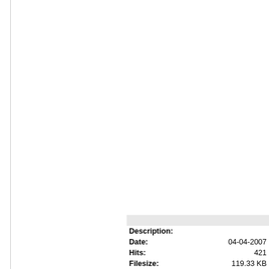| Field | Value |
| --- | --- |
| Description: |  |
| Date: | 04-04-2007 |
| Hits: | 421 |
| Filesize: | 119.33 KB |